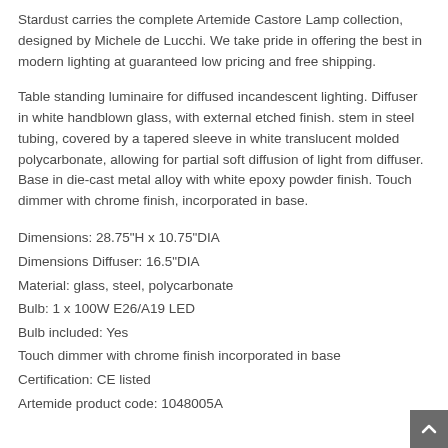Stardust carries the complete Artemide Castore Lamp collection, designed by Michele de Lucchi. We take pride in offering the best in modern lighting at guaranteed low pricing and free shipping.
Table standing luminaire for diffused incandescent lighting. Diffuser in white handblown glass, with external etched finish. stem in steel tubing, covered by a tapered sleeve in white translucent molded polycarbonate, allowing for partial soft diffusion of light from diffuser. Base in die-cast metal alloy with white epoxy powder finish. Touch dimmer with chrome finish, incorporated in base.
Dimensions: 28.75"H x 10.75"DIA
Dimensions Diffuser: 16.5"DIA
Material: glass, steel, polycarbonate
Bulb: 1 x 100W E26/A19 LED
Bulb included: Yes
Touch dimmer with chrome finish incorporated in base
Certification: CE listed
Artemide product code: 1048005A